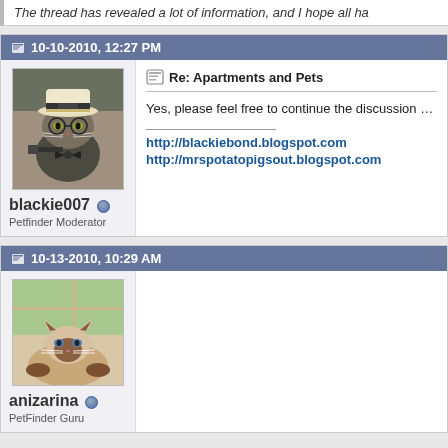The thread has revealed a lot of information, and I hope all ha
10-10-2010, 12:27 PM
[Figure (photo): Avatar image of a cat wearing a white hat and bow tie, styled as a secret agent]
blackie007
Petfinder Moderator
Re: Apartments and Pets
Yes, please feel free to continue the discussion without getting into
http://blackiebond.blogspot.com
http://mrspotatopigsout.blogspot.com
10-13-2010, 10:29 AM
[Figure (photo): Avatar image of a Siamese cat lying down near a window]
anizarina
PetFinder Guru